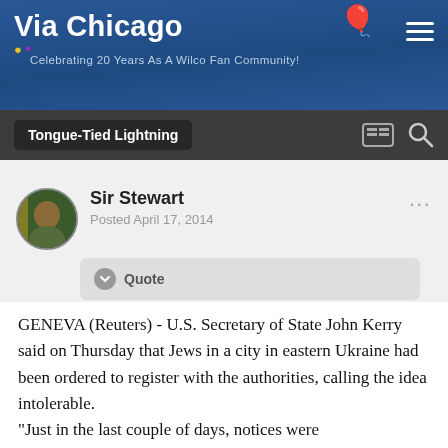Via Chicago — Celebrating 20 Years As A Wilco Fan Community!
Tongue-Tied Lightning
Sir Stewart
Posted April 17, 2014
Quote
GENEVA (Reuters) - U.S. Secretary of State John Kerry said on Thursday that Jews in a city in eastern Ukraine had been ordered to register with the authorities, calling the idea intolerable.
"Just in the last couple of days, notices were